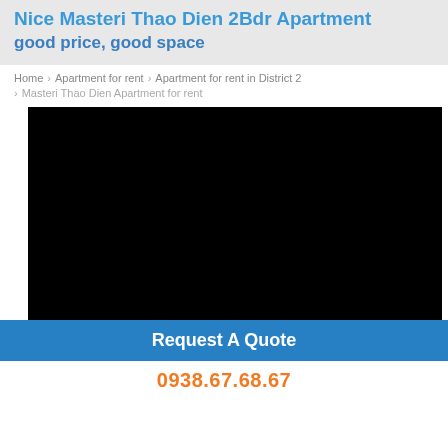Nice Masteri Thao Dien 2Bdr Apartment good price, good space
Home › Apartment for rent › Apartment for rent in District 2
› Masteri Thao Dien Apartment for rent
[Figure (photo): Black image placeholder for apartment photo]
Request A Quote
0938.67.68.67